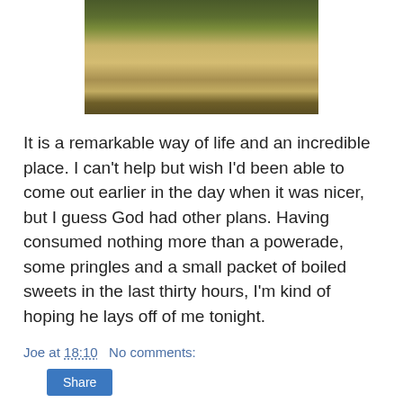[Figure (photo): Cropped photo showing dry grass and green grass on ground, bottom portion visible]
It is a remarkable way of life and an incredible place. I can't help but wish I'd been able to come out earlier in the day when it was nicer, but I guess God had other plans. Having consumed nothing more than a powerade, some pringles and a small packet of boiled sweets in the last thirty hours, I'm kind of hoping he lays off of me tonight.
Joe at 18:10   No comments:
Share
Tuesday, 18 May 2010
Boat over troubled water
Most backpackers are in Copacabana in order to visit Isla